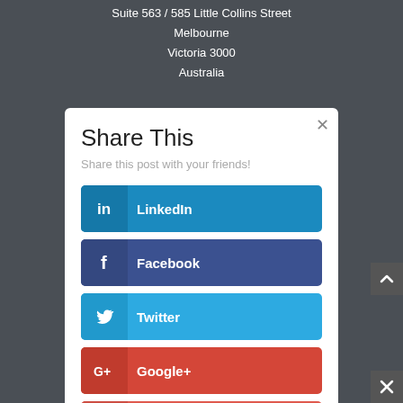Suite 563 / 585 Little Collins Street
Melbourne
Victoria 3000
Australia
Share This
Share this post with your friends!
LinkedIn
Facebook
Twitter
Google+
Like
...